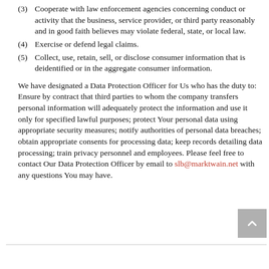(3) Cooperate with law enforcement agencies concerning conduct or activity that the business, service provider, or third party reasonably and in good faith believes may violate federal, state, or local law.
(4) Exercise or defend legal claims.
(5) Collect, use, retain, sell, or disclose consumer information that is deidentified or in the aggregate consumer information.
We have designated a Data Protection Officer for Us who has the duty to: Ensure by contract that third parties to whom the company transfers personal information will adequately protect the information and use it only for specified lawful purposes; protect Your personal data using appropriate security measures; notify authorities of personal data breaches; obtain appropriate consents for processing data; keep records detailing data processing; train privacy personnel and employees. Please feel free to contact Our Data Protection Officer by email to slb@marktwain.net with any questions You may have.